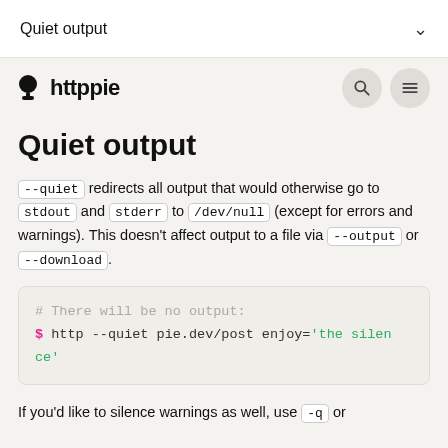Quiet output
[Figure (logo): httppie logo with magnify and menu icons]
Quiet output
--quiet redirects all output that would otherwise go to stdout and stderr to /dev/null (except for errors and warnings). This doesn't affect output to a file via --output or --download.
# There will be no output:
$ http --quiet pie.dev/post enjoy='the silence'
If you'd like to silence warnings as well, use -q or